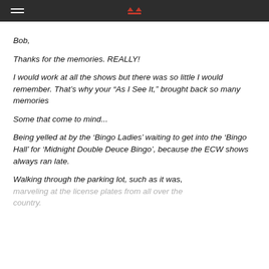Bob,
Thanks for the memories. REALLY!
I would work at all the shows but there was so little I would remember. That's why your “As I See It,” brought back so many memories
Some that come to mind...
Being yelled at by the ‘Bingo Ladies’ waiting to get into the ‘Bingo Hall’ for ‘Midnight Double Deuce Bingo’, because the ECW shows always ran late.
Walking through the parking lot, such as it was, marveling at the license plates from all over the country.